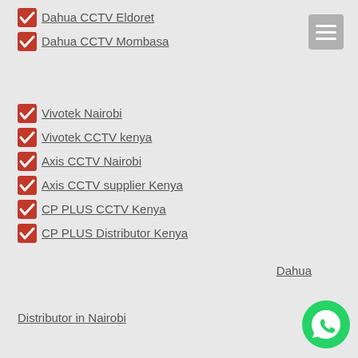Dahua CCTV Eldoret
Dahua CCTV Mombasa
Vivotek Nairobi
Vivotek CCTV kenya
Axis CCTV Nairobi
Axis CCTV supplier Kenya
CP PLUS CCTV Kenya
CP PLUS Distributor Kenya
Dahua
Distributor in Nairobi